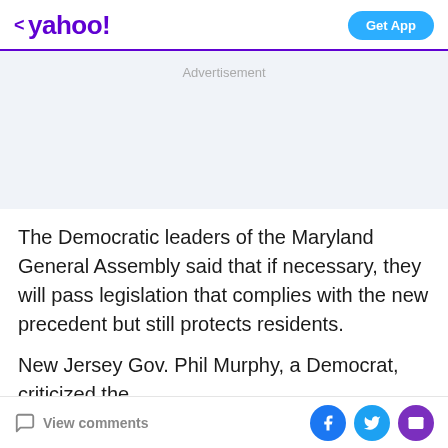< yahoo!  Get App
Advertisement
The Democratic leaders of the Maryland General Assembly said that if necessary, they will pass legislation that complies with the new precedent but still protects residents.
New Jersey Gov. Phil Murphy, a Democrat, criticized the
View comments